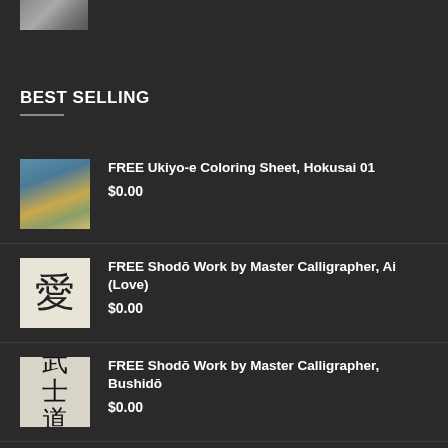[Figure (photo): Partial top image thumbnail, partially cropped]
BEST SELLING
FREE Ukiyo-e Coloring Sheet, Hokusai 01 $0.00
FREE Shodō Work by Master Calligrapher, Ai (Love) $0.00
FREE Shodō Work by Master Calligrapher, Bushidō $0.00
FREE Shodō Work by Master Calligrapher, Zen $0.00